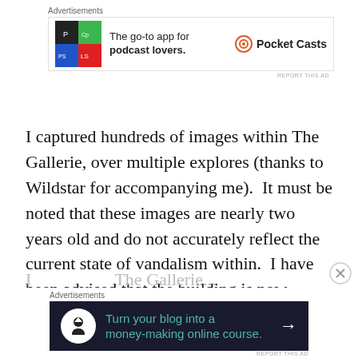[Figure (other): Top advertisement banner for Pocket Casts app: colorful app icon tiles, text 'The go-to app for podcast lovers.' with Pocket Casts logo]
I captured hundreds of images within The Gallerie, over multiple explores (thanks to Wildstar for accompanying me). It must be noted that these images are nearly two years old and do not accurately reflect the current state of vandalism within. I have been advised that the building is now equipped with state-of-the-art surveillance and regular security patrols.
[Figure (other): Bottom advertisement banner on dark background: 'Turn your blog into a money-making online course.' with arrow button]